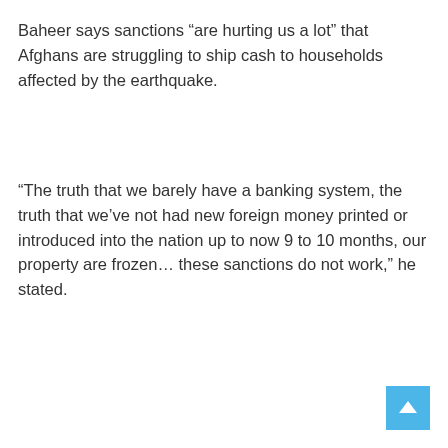Baheer says sanctions “are hurting us a lot” that Afghans are struggling to ship cash to households affected by the earthquake.
“The truth that we barely have a banking system, the truth that we’ve not had new foreign money printed or introduced into the nation up to now 9 to 10 months, our property are frozen… these sanctions do not work,” he stated.